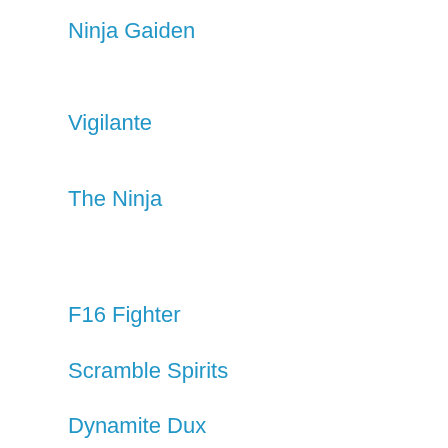Ninja Gaiden
Vigilante
The Ninja
F16 Fighter
Scramble Spirits
Dynamite Dux
Cloud Master
Spellcaster
American Pro Football
Psycho Fox
Ghostbusters
Shadow Dancer
Populous
Altered Beast